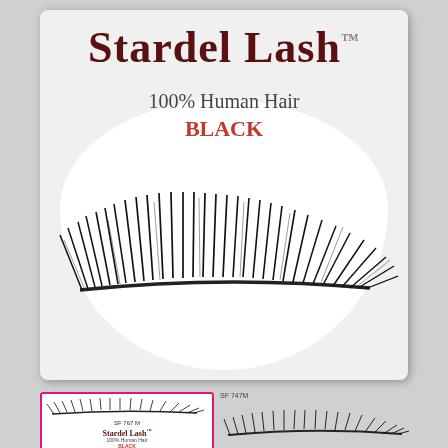[Figure (photo): Stardel Lash product packaging showing false eyelashes. Large main card with brand name 'Stardel Lash' in dark red serif font, '100% Human Hair' text, 'BLACK' in red, white oval background with black false eyelash strip displayed. Below: smaller product card with pink border showing same product at smaller scale, and a separate eyelash strip image with product code 'SF 747M'.]